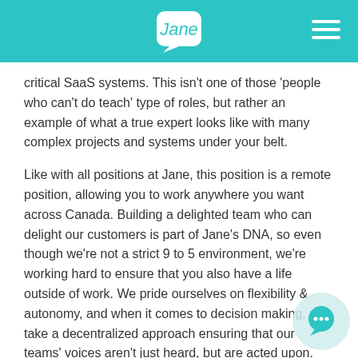Jane
critical SaaS systems. This isn't one of those 'people who can't do teach' type of roles, but rather an example of what a true expert looks like with many complex projects and systems under your belt.
Like with all positions at Jane, this position is a remote position, allowing you to work anywhere you want across Canada. Building a delighted team who can delight our customers is part of Jane's DNA, so even though we're not a strict 9 to 5 environment, we're working hard to ensure that you also have a life outside of work. We pride ourselves on flexibility & autonomy, and when it comes to decision making, we take a decentralized approach ensuring that our teams' voices aren't just heard, but are acted upon. We're building something special at Jane, and we back that up with employee stock option plan that ensures that everyo...